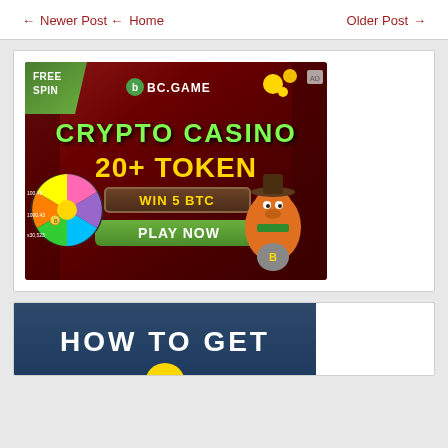← Newer Post ← Home    Older Post →
[Figure (illustration): BC.GAME crypto casino advertisement banner showing FREE SPIN badge, BC.GAME logo, CRYPTO CASINO, 20+ TOKEN, WIN 5 BTC button, PLAY NOW button, a spin wheel on the left, and an orange dinosaur character on the right]
[Figure (illustration): HOW TO GET banner with dark blue background and white bold text at the bottom of the page]